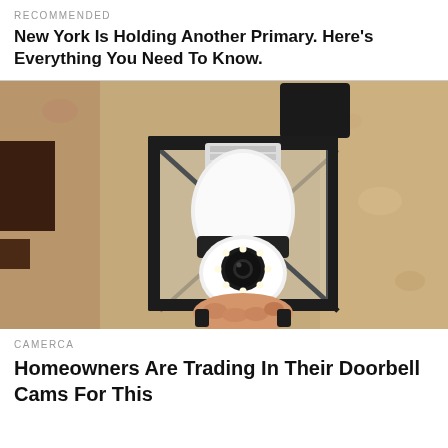RECOMMENDED
New York Is Holding Another Primary. Here’s Everything You Need To Know.
[Figure (photo): A person's hand installing or adjusting a white smart security camera shaped like a light bulb inside a black outdoor lantern fixture mounted on a textured stucco wall.]
CAMERCA
Homeowners Are Trading In Their Doorbell Cams For This